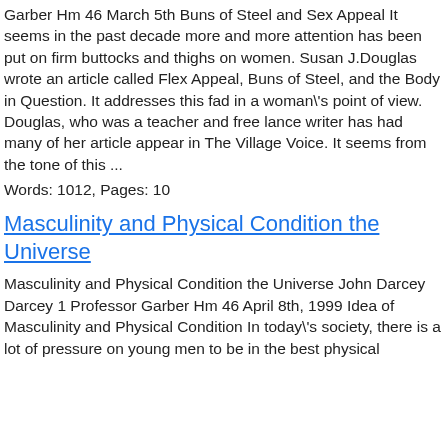Garber Hm 46 March 5th Buns of Steel and Sex Appeal It seems in the past decade more and more attention has been put on firm buttocks and thighs on women. Susan J.Douglas wrote an article called Flex Appeal, Buns of Steel, and the Body in Question. It addresses this fad in a woman\'s point of view. Douglas, who was a teacher and free lance writer has had many of her article appear in The Village Voice. It seems from the tone of this ...
Words: 1012, Pages: 10
Masculinity and Physical Condition the Universe
Masculinity and Physical Condition the Universe John Darcey Darcey 1 Professor Garber Hm 46 April 8th, 1999 Idea of Masculinity and Physical Condition In today\'s society, there is a lot of pressure on young men to be in the best physical